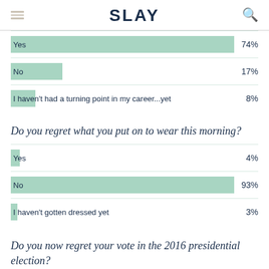SLAY
[Figure (bar-chart): Survey results (career turning point)]
Do you regret what you put on to wear this morning?
[Figure (bar-chart): Survey results (regret what you wore)]
Do you now regret your vote in the 2016 presidential election?